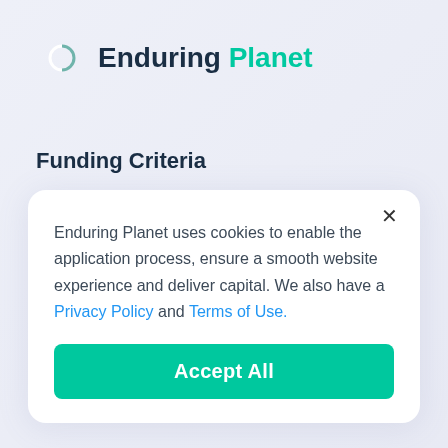[Figure (logo): Enduring Planet logo: green circular arrow/leaf icon followed by text 'Enduring Planet' in dark navy and teal]
Funding Criteria
Enduring Planet uses cookies to enable the application process, ensure a smooth website experience and deliver capital. We also have a Privacy Policy and Terms of Use.
Accept All